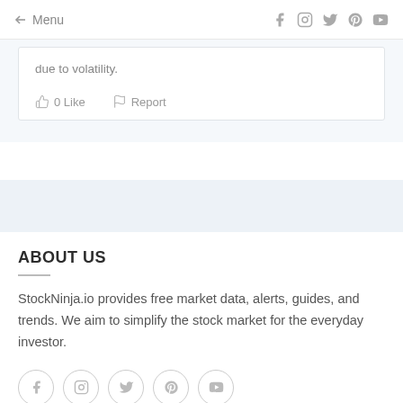Menu
due to volatility.
0 Like   Report
ABOUT US
StockNinja.io provides free market data, alerts, guides, and trends. We aim to simplify the stock market for the everyday investor.